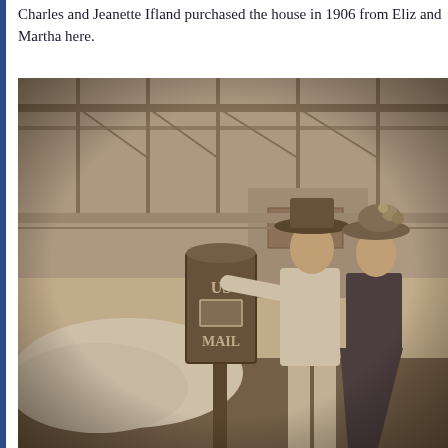Charles and Jeanette Ifland purchased the house in 1906 from Eliz... and Martha here.
[Figure (photo): Sepia-toned historical photograph of a man and woman standing next to a US Mail box. The man wears a suit and wide-brimmed hat, the woman wears a decorative hat. Behind them is a building with a covered porch/awning structure.]